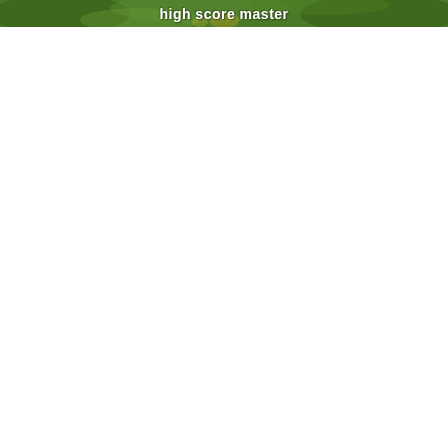[Figure (illustration): A banner image with a green/nature background (blurred foliage) with bold white text reading 'high score master' centered on it.]